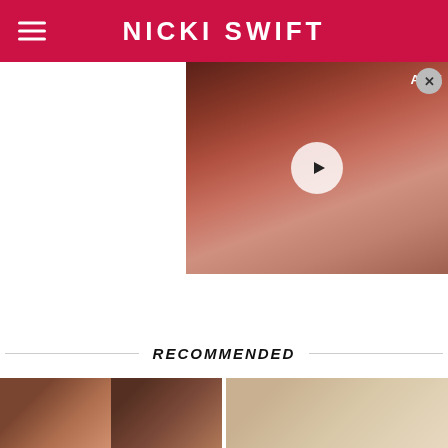NICKI SWIFT
[Figure (photo): Video thumbnail showing a woman with red hair and sparkly earrings, with a play button overlay. Text 'ANE' visible in upper right corner. Close (X) button in upper right.]
RECOMMENDED
[Figure (photo): Two side-by-side thumbnail images on the left showing people with reddish-brown hair tones.]
[Figure (photo): Thumbnail image on the right showing a person with blonde/light hair.]